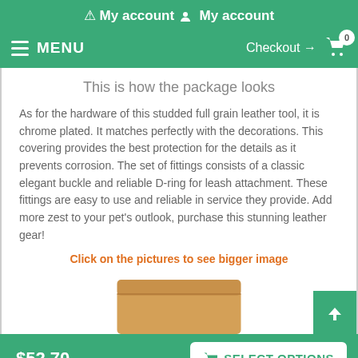My account
MENU  Checkout → 0
This is how the package looks
As for the hardware of this studded full grain leather tool, it is chrome plated. It matches perfectly with the decorations. This covering provides the best protection for the details as it prevents corrosion. The set of fittings consists of a classic elegant buckle and reliable D-ring for leash attachment. These fittings are easy to use and reliable in service they provide. Add more zest to your pet's outlook, purchase this stunning leather gear!
Click on the pictures to see bigger image
[Figure (photo): A tan/brown leather package or box shown from the top]
$52.70  SELECT OPTIONS